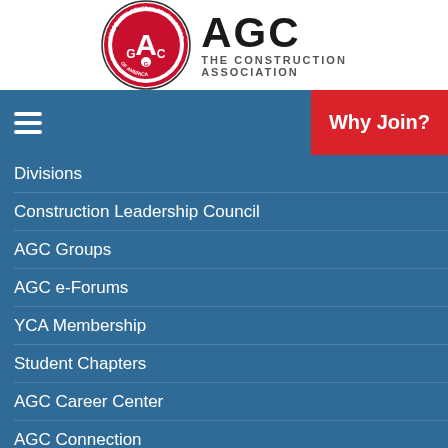[Figure (logo): AGC Associated General Contractors of America logo with circular emblem and text 'AGC THE CONSTRUCTION ASSOCIATION']
Divisions
Construction Leadership Council
AGC Groups
AGC e-Forums
YCA Membership
Student Chapters
AGC Career Center
AGC Connection
Volunteer
MEMBER BENEFITS
Get Started